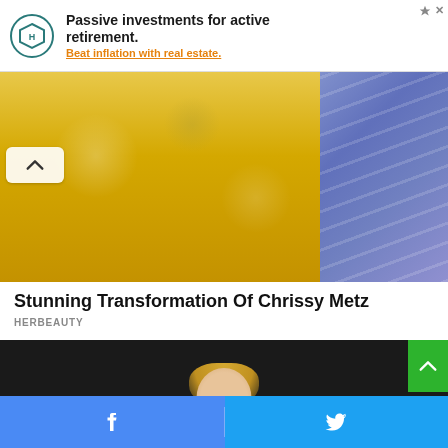[Figure (other): Advertisement banner: hexagonal logo with 'Passive investments for active retirement. Beat inflation with real estate.']
[Figure (photo): Photo of person in yellow floral dress and another person in blue floral dress, cropped at torso level]
Stunning Transformation Of Chrissy Metz
HERBEAUTY
[Figure (photo): Photo of blonde woman in black and white striped sleeveless dress against dark background]